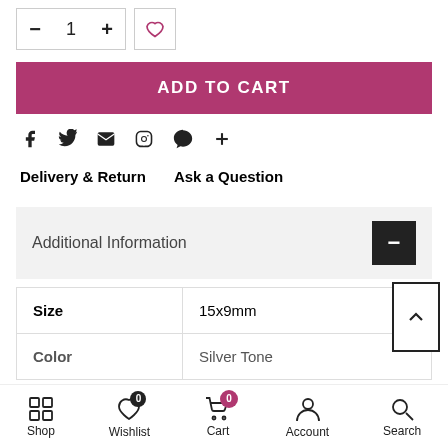[Figure (screenshot): Quantity selector with minus, 1, plus buttons and wishlist heart button]
ADD TO CART
[Figure (infographic): Social sharing icons: Facebook, Twitter, Email, Pinterest, Messenger, plus]
Delivery & Return    Ask a Question
Additional Information
| Size | 15x9mm |
| --- | --- |
| Color | Silver Tone |
Shop  Wishlist 0  Cart 0  Account  Search